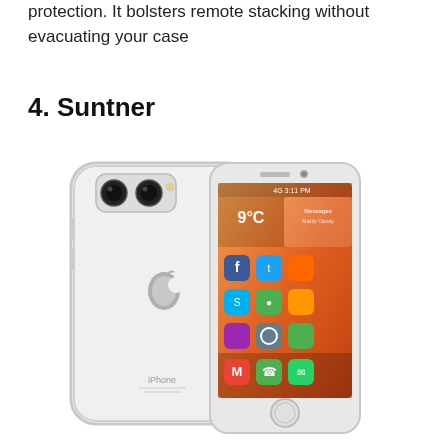protection. It bolsters remote stacking without evacuating your case
4. Suntner
[Figure (photo): Two smartphones shown together — one displaying its back (iPhone with clear case showing Apple logo, dual camera, 'iPhone' text) and one showing a colorful Android-style home screen with app icons.]